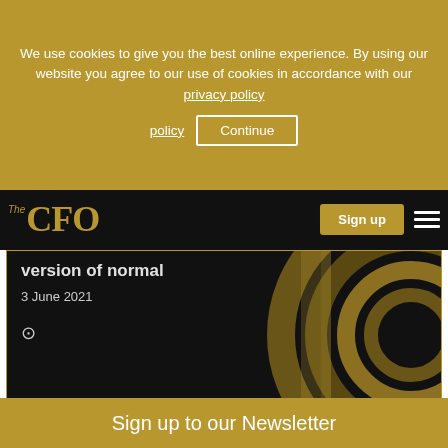We use cookies to give you the best online experience. By using our website you agree to our use of cookies in accordance with our privacy policy
Continue
The CFO
Sign up
version of normal
3 June 2021
[Figure (illustration): Decorative concentric circles in dark gold/brown on black background]
[Figure (illustration): Grid of gray circles of varying sizes on dark gray background]
Sign up to our Newsletter